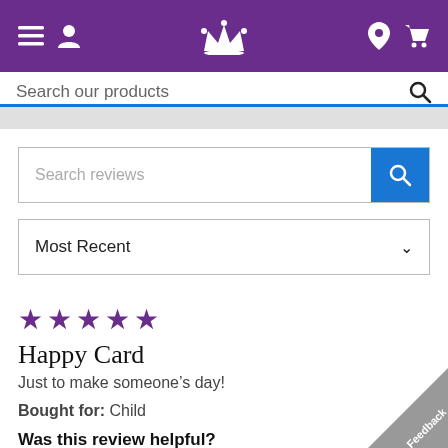Navigation header with menu, user, crown logo, location, and cart icons
Search our products
Search reviews
Most Recent
★★★★★
Happy Card
Just to make someone's day!
Bought for: Child
Was this review helpful?